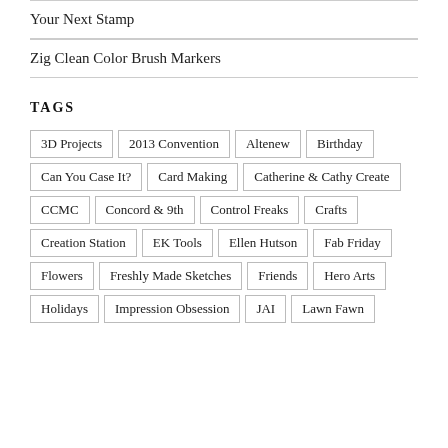Your Next Stamp
Zig Clean Color Brush Markers
TAGS
3D Projects
2013 Convention
Altenew
Birthday
Can You Case It?
Card Making
Catherine & Cathy Create
CCMC
Concord & 9th
Control Freaks
Crafts
Creation Station
EK Tools
Ellen Hutson
Fab Friday
Flowers
Freshly Made Sketches
Friends
Hero Arts
Holidays
Impression Obsession
JAI
Lawn Fawn